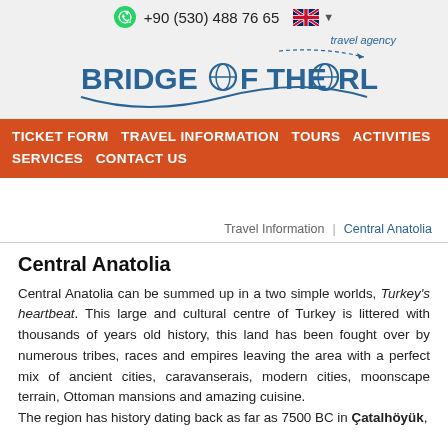+90 (530) 488 76 65 — Bridge of the World Travel Agency
TICKET FORM  TRAVEL INFORMATION  TOURS  ACTIVITIES  SERVICES  CONTACT US
Travel Information | Central Anatolia
Central Anatolia
Central Anatolia can be summed up in a two simple worlds, Turkey's heartbeat. This large and cultural centre of Turkey is littered with thousands of years old history, this land has been fought over by numerous tribes, races and empires leaving the area with a perfect mix of ancient cities, caravanserais, modern cities, moonscape terrain, Ottoman mansions and amazing cuisine.
The region has history dating back as far as 7500 BC in Çatalhöyük,